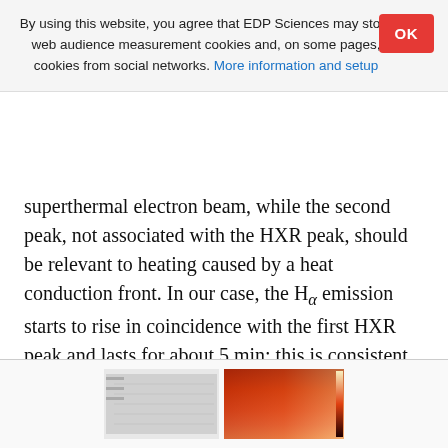By using this website, you agree that EDP Sciences may store web audience measurement cookies and, on some pages, cookies from social networks. More information and setup
superthermal electron beam, while the second peak, not associated with the HXR peak, should be relevant to heating caused by a heat conduction front. In our case, the H_alpha emission starts to rise in coincidence with the first HXR peak and lasts for about 5 min: this is consistent with a scenario where the H_alpha kernel was initially heated by a superthermal electron beam and later by a conduction front, hence supports the hypothesis of a reconnection process at this stage of the event.
[Figure (photo): Scientific figure partially visible at bottom of page, appears to show spectral or image data in grayscale and false color (red/orange/brown tones).]